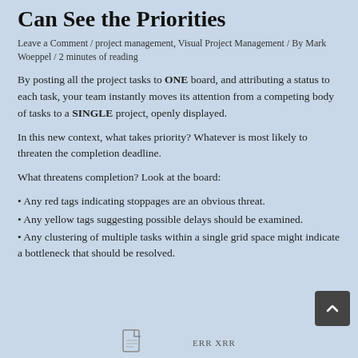Can See the Priorities
Leave a Comment / project management, Visual Project Management / By Mark Woeppel / 2 minutes of reading
By posting all the project tasks to ONE board, and attributing a status to each task, your team instantly moves its attention from a competing body of tasks to a SINGLE project, openly displayed.
In this new context, what takes priority? Whatever is most likely to threaten the completion deadline.
What threatens completion? Look at the board:
• Any red tags indicating stoppages are an obvious threat.
• Any yellow tags suggesting possible delays should be examined.
• Any clustering of multiple tasks within a single grid space might indicate a bottleneck that should be resolved.